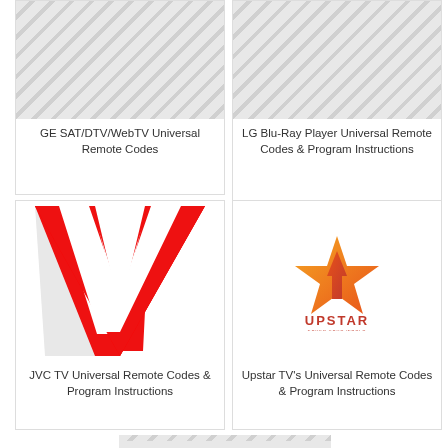[Figure (photo): Placeholder image with diagonal stripe pattern for GE SAT/DTV/WebTV Universal Remote Codes]
GE SAT/DTV/WebTV Universal Remote Codes
[Figure (photo): Placeholder image with diagonal stripe pattern for LG Blu-Ray Player Universal Remote Codes & Program Instructions]
LG Blu-Ray Player Universal Remote Codes & Program Instructions
[Figure (logo): JVC red V-shaped logo mark]
JVC TV Universal Remote Codes & Program Instructions
[Figure (logo): Upstar TV logo — orange/gold star with upward arrow inside, and UPSTAR text below]
Upstar TV's Universal Remote Codes & Program Instructions
[Figure (photo): Partial placeholder image with diagonal stripe pattern at bottom of page]